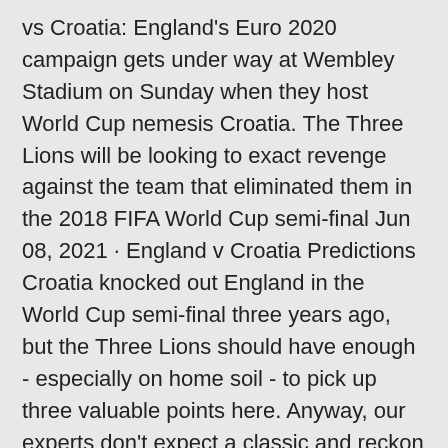vs Croatia: England's Euro 2020 campaign gets under way at Wembley Stadium on Sunday when they host World Cup nemesis Croatia. The Three Lions will be looking to exact revenge against the team that eliminated them in the 2018 FIFA World Cup semi-final Jun 08, 2021 · England v Croatia Predictions Croatia knocked out England in the World Cup semi-final three years ago, but the Three Lions should have enough - especially on home soil - to pick up three valuable points here. Anyway, our experts don't expect a classic and reckon this could be decided by the odd goal.
England odds and lines and make our best UEFA EURO 2020 bets, picks and predictions. England will take on Croatia in a group stage match of the UEFA Euro 2020. The match is set to begin at 6:30 PM IST (2:00 PM